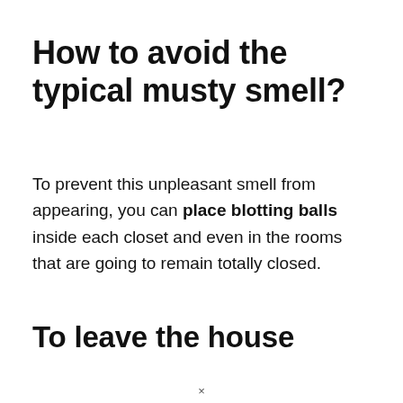How to avoid the typical musty smell?
To prevent this unpleasant smell from appearing, you can place blotting balls inside each closet and even in the rooms that are going to remain totally closed.
To leave the house